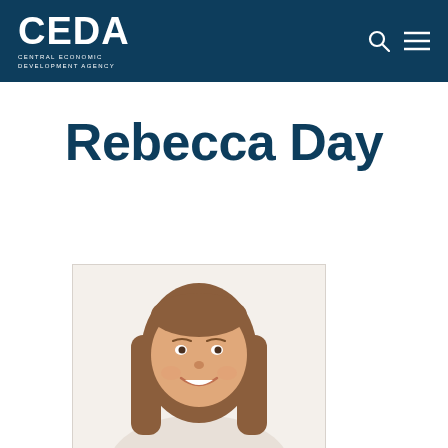CEDA — Central Economic Development Agency
Rebecca Day
[Figure (photo): Headshot photo of Rebecca Day, a young woman with long brown hair smiling, against a light background]